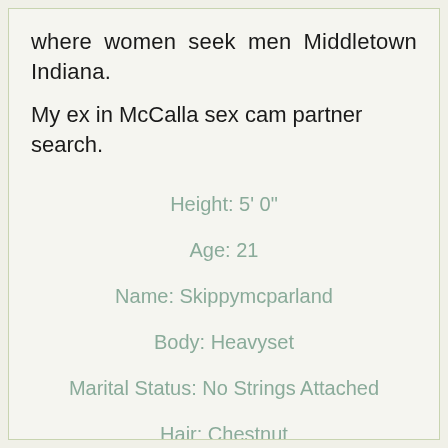where women seek men Middletown Indiana.
My ex in McCalla sex cam partner search.
Height: 5' 0"
Age: 21
Name: Skippymcparland
Body: Heavyset
Marital Status: No Strings Attached
Hair: Chestnut